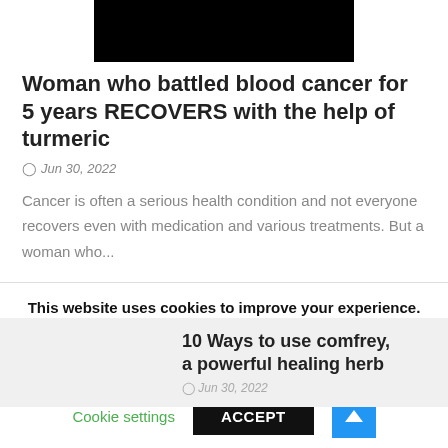[Figure (photo): Redacted/blacked-out image at top center]
Woman who battled blood cancer for 5 years RECOVERS with the help of turmeric
Jun 30, 2022
Cancer is often a serious health condition and not everyone recovers even with medication and various treatments. But a woman who...
10 Ways to use comfrey, a powerful healing herb
This website uses cookies to improve your experience. We'll assume you're ok with this, but you can opt-out if you wish.
Cookie settings
ACCEPT